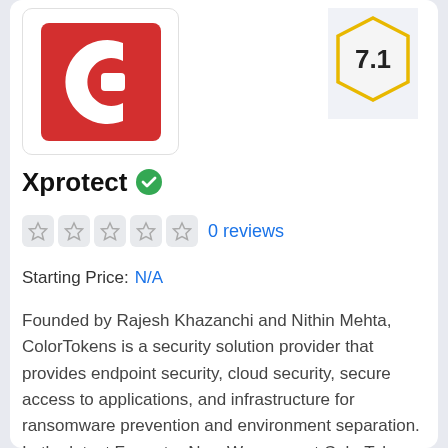[Figure (logo): Xprotect / ColorTokens red square logo with white C-shaped icon]
[Figure (infographic): Score badge showing 7.1 in a hexagon shape with gold/yellow border on light grey background]
Xprotect
0 reviews
Starting Price: N/A
Founded by Rajesh Khazanchi and Nithin Mehta, ColorTokens is a security solution provider that provides endpoint security, cloud security, secure access to applications, and infrastructure for ransomware prevention and environment separation. In the latest Forrester New Wave report ColorTokens was r...